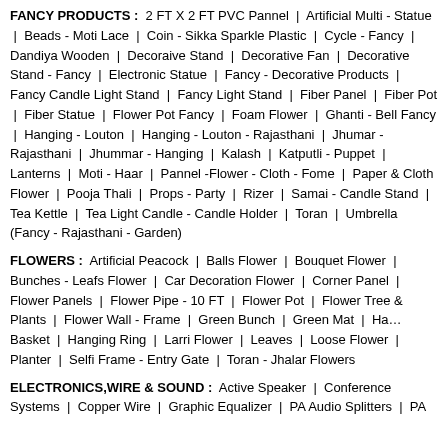FANCY PRODUCTS : 2 FT X 2 FT PVC Pannel | Artificial Multi - Statue | Beads - Moti Lace | Coin - Sikka Sparkle Plastic | Cycle - Fancy | Dandiya Wooden | Decoraive Stand | Decorative Fan | Decorative Stand - Fancy | Electronic Statue | Fancy - Decorative Products | Fancy Candle Light Stand | Fancy Light Stand | Fiber Panel | Fiber Pot | Fiber Statue | Flower Pot Fancy | Foam Flower | Ghanti - Bell Fancy | Hanging - Louton | Hanging - Louton - Rajasthani | Jhumar - Rajasthani | Jhummar - Hanging | Kalash | Katputli - Puppet | Lanterns | Moti - Haar | Pannel -Flower - Cloth - Fome | Paper & Cloth Flower | Pooja Thali | Props - Party | Rizer | Samai - Candle Stand | Tea Kettle | Tea Light Candle - Candle Holder | Toran | Umbrella (Fancy - Rajasthani - Garden)
FLOWERS : Artificial Peacock | Balls Flower | Bouquet Flower | Bunches - Leafs Flower | Car Decoration Flower | Corner Panel | Flower Panels | Flower Pipe - 10 FT | Flower Pot | Flower Tree & Plants | Flower Wall - Frame | Green Bunch | Green Mat | Hanging Basket | Hanging Ring | Larri Flower | Leaves | Loose Flower | Planter | Selfi Frame - Entry Gate | Toran - Jhalar Flowers
ELECTRONICS,WIRE & SOUND : Active Speaker | Conference Systems | Copper Wire | Graphic Equalizer | PA Audio Splitters | PA